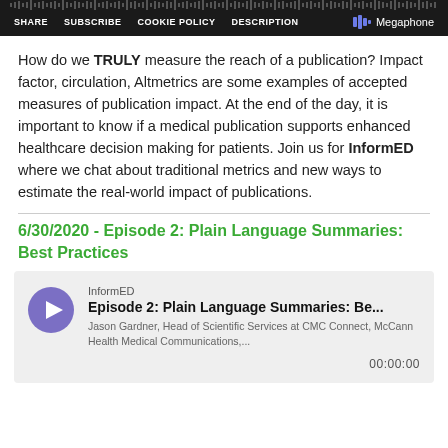SHARE  SUBSCRIBE  COOKIE POLICY  DESCRIPTION  Megaphone
How do we TRULY measure the reach of a publication?  Impact factor, circulation, Altmetrics are some examples of accepted measures of publication impact. At the end of the day, it is important to know if a medical publication supports enhanced healthcare decision making for patients. Join us for InformED where we chat about traditional metrics and new ways to estimate the real-world impact of publications.
6/30/2020 - Episode 2: Plain Language Summaries: Best Practices
[Figure (other): Podcast player card for InformED Episode 2: Plain Language Summaries: Best Practices. Shows a play button, show name InformED, episode title, description by Jason Gardner Head of Scientific Services at CMC Connect McCann Health Medical Communications, and timestamp 00:00:00]